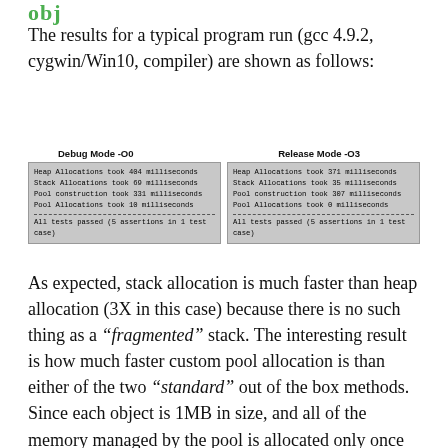obj
The results for a typical program run (gcc 4.9.2, cygwin/Win10, compiler) are shown as follows:
[Figure (screenshot): Two terminal output boxes side by side. Left box labeled 'Debug Mode -O0' shows: Heap Allocations took 404 milliseconds, Stack Allocations took 69 milliseconds, Pool construction took 331 milliseconds, Pool Allocations took 10 milliseconds, dashed line, All tests passed (5 assertions in 1 test case). Right box labeled 'Release Mode -O3' shows: Heap Allocations took 371 milliseconds, Stack Allocations took 35 milliseconds, Pool construction took 307 milliseconds, Pool Allocations took 0 milliseconds, dashed line, All tests passed (5 assertions in 1 test case).]
As expected, stack allocation is much faster than heap allocation (3X in this case) because there is no such thing as a “fragmented” stack. The interesting result is how much faster custom pool allocation is than either of the two “standard” out of the box methods. Since each object is 1MB in size, and all of the memory managed by the pool is allocated only once (during construction of the pool object), dynamically acquiring and releasing pointers to the pre-constructed pool objects during runtime is